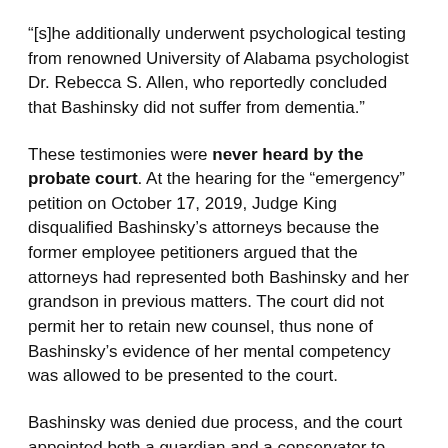“[s]he additionally underwent psychological testing from renowned University of Alabama psychologist Dr. Rebecca S. Allen, who reportedly concluded that Bashinsky did not suffer from dementia.”
These testimonies were never heard by the probate court. At the hearing for the “emergency” petition on October 17, 2019, Judge King disqualified Bashinsky’s attorneys because the former employee petitioners argued that the attorneys had represented both Bashinsky and her grandson in previous matters. The court did not permit her to retain new counsel, thus none of Bashinsky’s evidence of her mental competency was allowed to be presented to the court.
Bashinsky was denied due process, and the court appointed both a guardian and a conservator to manage her affairs.